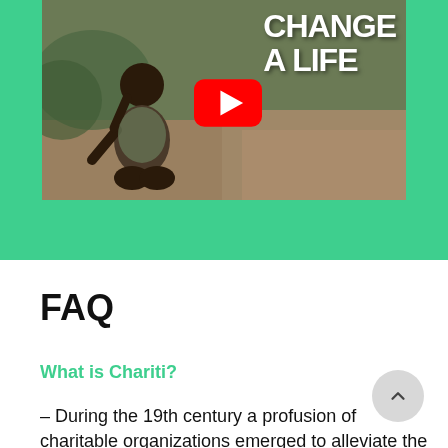[Figure (screenshot): YouTube video thumbnail showing a person crouching outdoors with text 'CHANGE A LIFE' and a YouTube play button overlay, set against a green background section]
FAQ
What is Chariti?
– During the 19th century a profusion of charitable organizations emerged to alleviate the awful